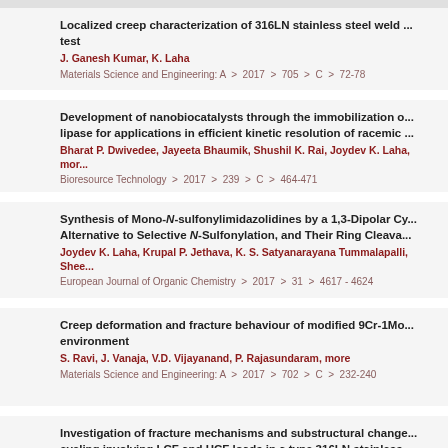Localized creep characterization of 316LN stainless steel weld ... test
J. Ganesh Kumar, K. Laha
Materials Science and Engineering: A > 2017 > 705 > C > 72-78
Development of nanobiocatalysts through the immobilization o... lipase for applications in efficient kinetic resolution of racemic ...
Bharat P. Dwivedee, Jayeeta Bhaumik, Shushil K. Rai, Joydev K. Laha, more
Bioresource Technology > 2017 > 239 > C > 464-471
Synthesis of Mono-N-sulfonylimidazolidines by a 1,3-Dipolar Cy... Alternative to Selective N-Sulfonylation, and Their Ring Cleava...
Joydev K. Laha, Krupal P. Jethava, K. S. Satyanarayana Tummalapalli, Shee...
European Journal of Organic Chemistry > 2017 > 31 > 4617 - 4624
Creep deformation and fracture behaviour of modified 9Cr-1Mo... environment
S. Ravi, J. Vanaja, V.D. Vijayanand, P. Rajasundaram, more
Materials Science and Engineering: A > 2017 > 702 > C > 232-240
Investigation of fracture mechanisms and substructural change... cycling involving LCF and HCF loads in a type 316LN stainless...